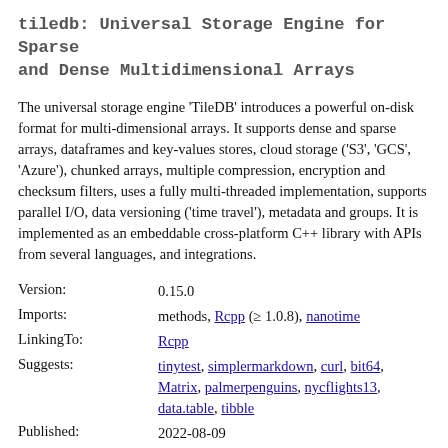tiledb: Universal Storage Engine for Sparse and Dense Multidimensional Arrays
The universal storage engine 'TileDB' introduces a powerful on-disk format for multi-dimensional arrays. It supports dense and sparse arrays, dataframes and key-values stores, cloud storage ('S3', 'GCS', 'Azure'), chunked arrays, multiple compression, encryption and checksum filters, uses a fully multi-threaded implementation, supports parallel I/O, data versioning ('time travel'), metadata and groups. It is implemented as an embeddable cross-platform C++ library with APIs from several languages, and integrations.
| Version: | 0.15.0 |
| Imports: | methods, Rcpp (≥ 1.0.8), nanotime |
| LinkingTo: | Rcpp |
| Suggests: | tinytest, simplermarkdown, curl, bit64, Matrix, palmerpenguins, nycflights13, data.table, tibble |
| Published: | 2022-08-09 |
| Author: | TileDB, Inc. [aut, cph], Dirk Eddelbuettel [cre] |
| Maintainer: | Dirk Eddelbuettel <dirk at tiledb.com> |